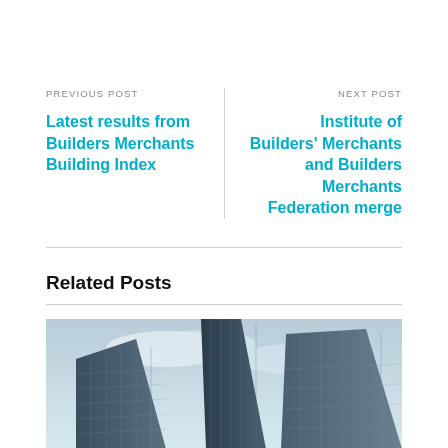PREVIOUS POST
Latest results from Builders Merchants Building Index
NEXT POST
Institute of Builders' Merchants and Builders Merchants Federation merge
Related Posts
[Figure (photo): Low-angle view of glass skyscrapers against a cloudy sky, in blue-grey tones]